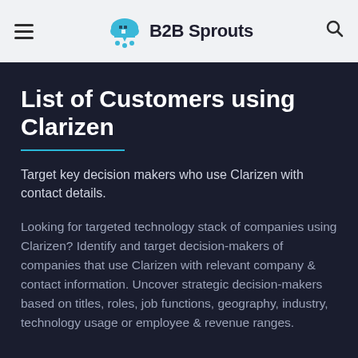B2B Sprouts
List of Customers using Clarizen
Target key decision makers who use Clarizen with contact details.
Looking for targeted technology stack of companies using Clarizen? Identify and target decision-makers of companies that use Clarizen with relevant company & contact information. Uncover strategic decision-makers based on titles, roles, job functions, geography, industry, technology usage or employee & revenue ranges.